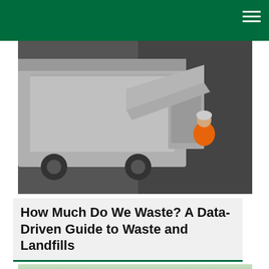[Figure (photo): Aerial view of a garbage truck with a worker in an orange vest loading waste, seen from above on dark pavement.]
How Much Do We Waste? A Data-Driven Guide to Waste and Landfills
[Figure (photo): Partial view of a second image below the title, showing green foliage and a hand.]
We use cookies to deliver the best possible experience on our website. By continuing to use this site, accepting or closing this box, you consent to our use of cookies. To learn more, visit our privacy policy.
Accept All